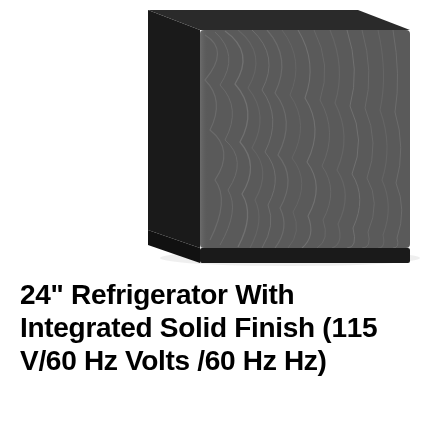[Figure (photo): A 24-inch refrigerator with integrated solid finish shown from a front-corner angle. The unit features a dark gray wood-grain panel front door, black side panels, and a black base/toe-kick. The appliance is photographed against a white background.]
24" Refrigerator With Integrated Solid Finish (115 V/60 Hz Volts /60 Hz Hz)